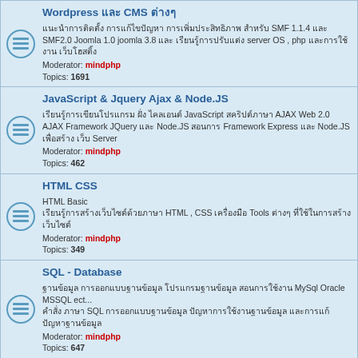WordPress CMS - Moderator: mindphp, Topics: 1691
JavaScript & Jquery Ajax & Node.JS - Moderator: mindphp, Topics: 462
HTML CSS - Moderator: mindphp, Topics: 349
SQL - Database - Moderator: mindphp, Topics: 647
Mobile Programming - Android, iOS, Window Phone - Moderators: mindphp, Topics: 143
Thai forum section - Moderators: mindphp, Topics: 1033